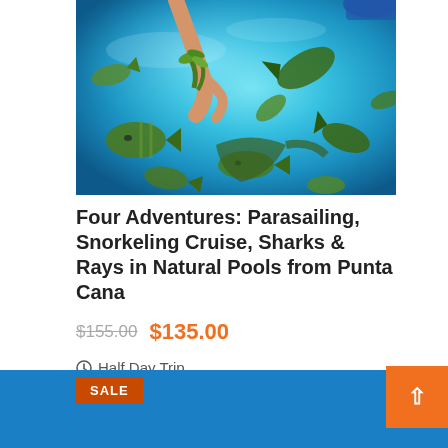[Figure (photo): Underwater snorkeling photo showing a person's hands feeding tropical fish and rays in clear blue water with fish swimming around]
Four Adventures: Parasailing, Snorkeling Cruise, Sharks & Rays in Natural Pools from Punta Cana
$155.00  $135.00
Half Day Trip
SALE